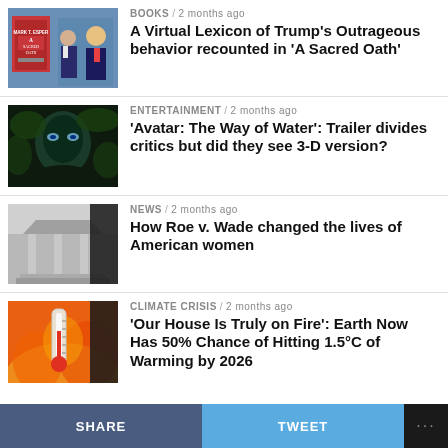[Figure (photo): Thumbnail of book cover 'A Sacred Oath' and Trump with man in suit]
BOOKS / 2 months ago
A Virtual Lexicon of Trump's Outrageous behavior recounted in 'A Sacred Oath'
[Figure (photo): Dark blue/green Avatar movie still thumbnail]
ENTERTAINMENT / 2 months ago
'Avatar: The Way of Water': Trailer divides critics but did they see 3-D version?
[Figure (photo): Black and white photo of US Supreme Court building columns]
NEWS / 2 months ago
How Roe v. Wade changed the lives of American women
[Figure (photo): Thermometer on fire orange background climate crisis photo]
CLIMATE CRISIS / 2 months ago
'Our House Is Truly on Fire': Earth Now Has 50% Chance of Hitting 1.5°C of Warming by 2026
SHARE   TWEET   ...